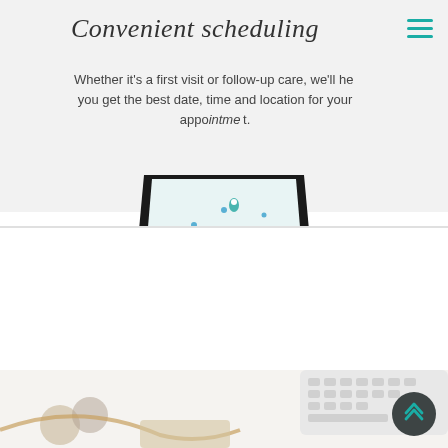Convenient scheduling
Whether it's a first visit or follow-up care, we'll help you get the best date, time and location for your appointment.
[Figure (photo): Smartphone showing a map/scheduling app, partially visible, viewed from above at an angle]
PREPARE FOR YOUR VISIT
We're here to support you
Explore this collection of patient resources to help you prepare or follow up on your visit with our care team.
[Figure (photo): Desk items including a white keyboard, notebook, and earbuds on a white background, partially visible at bottom of page]